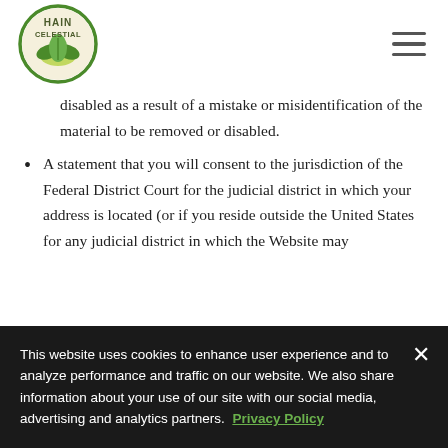[Figure (logo): Hain Celestial logo — circular green border with leaf/plant motif and company name]
disabled as a result of a mistake or misidentification of the material to be removed or disabled.
A statement that you will consent to the jurisdiction of the Federal District Court for the judicial district in which your address is located (or if you reside outside the United States for any judicial district in which the Website may
This website uses cookies to enhance user experience and to analyze performance and traffic on our website. We also share information about your use of our site with our social media, advertising and analytics partners. Privacy Policy